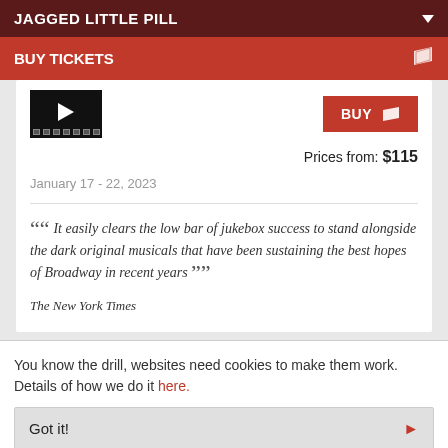JAGGED LITTLE PILL
BUY TICKETS
Prices from: $115
January 17 - 22, 2023
“ It easily clears the low bar of jukebox success to stand alongside the dark original musicals that have been sustaining the best hopes of Broadway in recent years ”
The New York Times
You know the drill, websites need cookies to make them work. Details of how we do it here.
Got it!